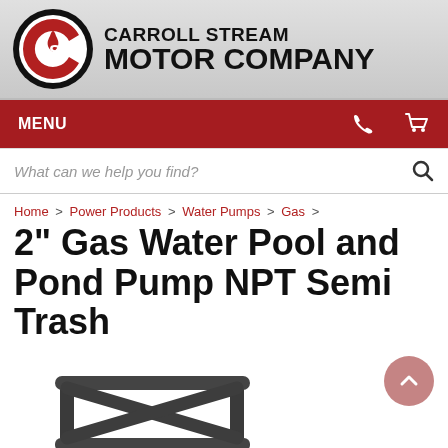CARROLL STREAM MOTOR COMPANY
MENU
What can we help you find?
Home > Power Products > Water Pumps > Gas >
2" Gas Water Pool and Pond Pump NPT Semi Trash
[Figure (photo): Gas water pool and pond pump frame/chassis, dark gray metal tubing, partial view from below and side]